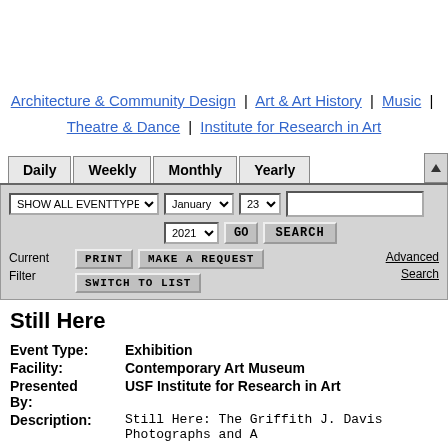Architecture & Community Design | Art & Art History | Music | Theatre & Dance | Institute for Research in Art
[Figure (screenshot): Navigation tabs: Daily | Weekly | Monthly | Yearly with scroll arrow, and filter bar with SHOW ALL EVENTTYPES dropdown, January 23 2021 date selectors, GO button, SEARCH input and button, Current Filter label, PRINT button, MAKE A REQUEST button, SWITCH TO LIST button, Advanced Search link]
Still Here
Event Type: Exhibition
Facility: Contemporary Art Museum
Presented By: USF Institute for Research in Art
Description: Still Here: The Griffith J. Davis Photographs and A
USF Contemporary Art Museum
West Gallery + online at cam.usf.edu
Reservations will be required to visit USFCAM: mask